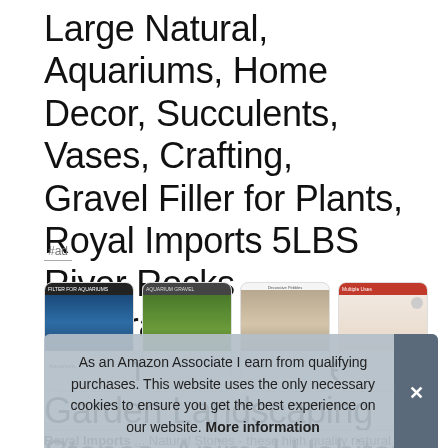Large Natural, Aquariums, Home Decor, Succulents, Vases, Crafting, Gravel Filler for Plants, Royal Imports 5LBS River Rocks Decorative Ornamental Pebbles, Garden Landscaping Stones, Animal Habitat
#ad
[Figure (screenshot): Row of four product thumbnail images in rounded cards]
As an Amazon Associate I earn from qualifying purchases. This website uses the only necessary cookies to ensure you get the best experience on our website. More information
Royal Imports ... Natural Stones - these high quality natural